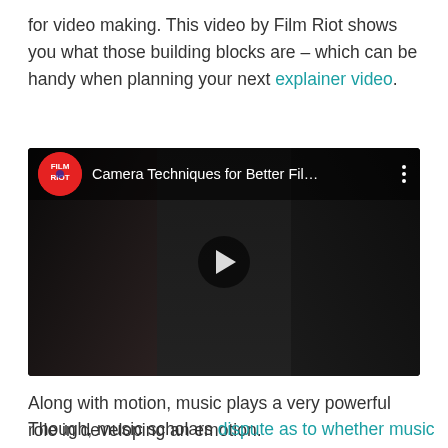for video making. This video by Film Riot shows you what those building blocks are – which can be handy when planning your next explainer video.
[Figure (screenshot): YouTube video embed showing 'Camera Techniques for Better Fil...' by Film Riot channel, with a dark thumbnail showing three people, a play button in the center, and the Film Riot logo.]
Along with motion, music plays a very powerful role in developing an emotion.
Though, music scholars dispute as to whether music